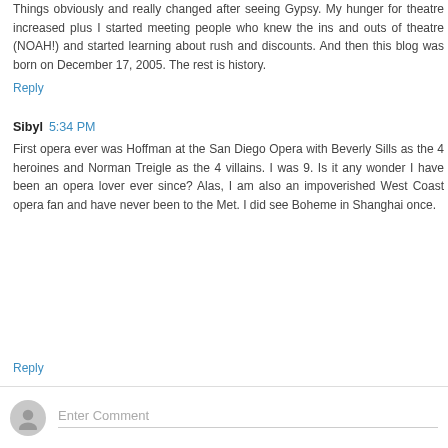Things obviously and really changed after seeing Gypsy. My hunger for theatre increased plus I started meeting people who knew the ins and outs of theatre (NOAH!) and started learning about rush and discounts. And then this blog was born on December 17, 2005. The rest is history.
Reply
Sibyl  5:34 PM
First opera ever was Hoffman at the San Diego Opera with Beverly Sills as the 4 heroines and Norman Treigle as the 4 villains. I was 9. Is it any wonder I have been an opera lover ever since? Alas, I am also an impoverished West Coast opera fan and have never been to the Met. I did see Boheme in Shanghai once.
Reply
Enter Comment